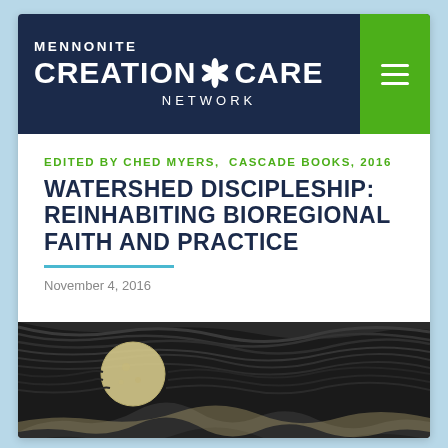MENNONITE CREATION CARE NETWORK
EDITED BY CHED MYERS,  CASCADE BOOKS, 2016
WATERSHED DISCIPLESHIP: REINHABITING BIOREGIONAL FAITH AND PRACTICE
November 4, 2016
[Figure (illustration): Book cover art showing a moonlit night scene with swirling dark sky and mountains, rendered in black and white etching style]